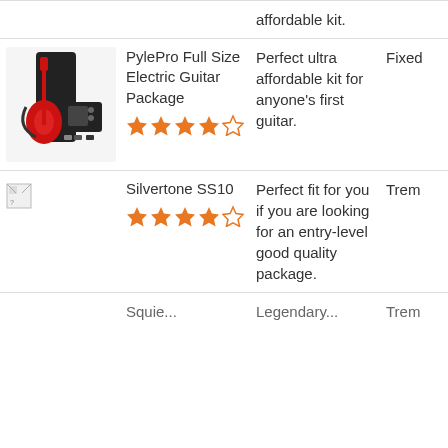| Image | Product | Description | Extra |
| --- | --- | --- | --- |
| [partial row - top cut off] |  | affordable kit. |  |
| [PylePro guitar package image] | PylePro Full Size Electric Guitar Package ★★★★☆ | Perfect ultra affordable kit for anyone's first guitar. | Fixed |
| [broken image] | Silvertone SS10 ★★★★☆ | Perfect fit for you if you are looking for an entry-level good quality package. | Trem |
| [partial] | Squie... | Legendary... | Trem |